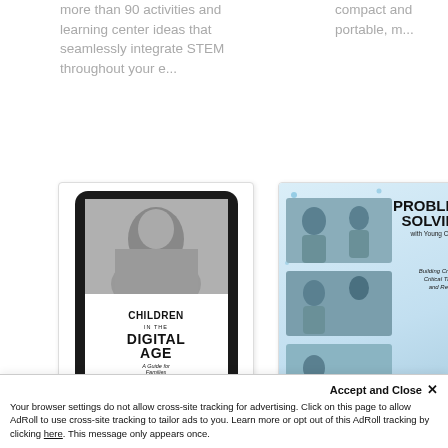more than 90 activities and learning center ideas that seamlessly integrate STEM throughout your e...
compact and portable, m...
[Figure (illustration): Book cover shown on a tablet: 'Children in the Digital Age: A Guide for Families' by Brian Puerling. Black and white tablet device displaying a book cover with a child's photo.]
[Figure (illustration): Book cover: 'Problem Solving with Young Children: Building Creativity, Critical Thinking, and Resilience'. Light blue background with photo collage of children.]
Accept and Close ✕
Your browser settings do not allow cross-site tracking for advertising. Click on this page to allow AdRoll to use cross-site tracking to tailor ads to you. Learn more or opt out of this AdRoll tracking by clicking here. This message only appears once.
Problem Solving with...